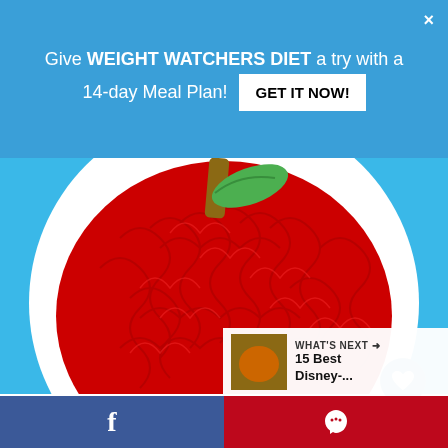Give WEIGHT WATCHERS DIET a try with a 14-day Meal Plan! GET IT NOW!
[Figure (photo): A white plate on a blue background filled with red noodles or toy worms arranged to look like an apple, with a brown stem and green leaf on top.]
9
WHAT'S NEXT → 15 Best Disney-...
f
P